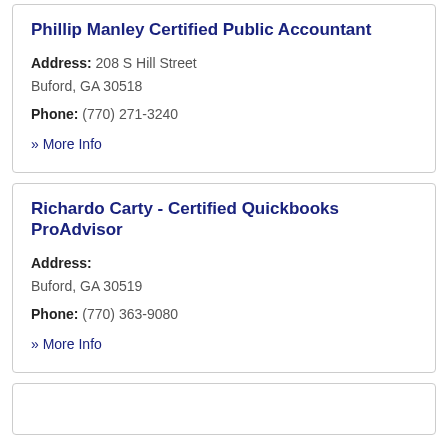Phillip Manley Certified Public Accountant
Address: 208 S Hill Street Buford, GA 30518
Phone: (770) 271-3240
» More Info
Richardo Carty - Certified Quickbooks ProAdvisor
Address: Buford, GA 30519
Phone: (770) 363-9080
» More Info